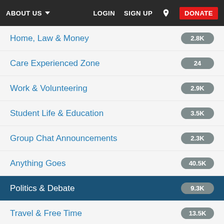ABOUT US | LOGIN | SIGN UP | DONATE
Home, Law & Money — 2.8K
Care Experienced Zone — 24
Work & Volunteering — 2.9K
Student Life & Education — 3.5K
Group Chat Announcements — 2.3K
Anything Goes — 40.5K
Politics & Debate — 9.3K
Travel & Free Time — 13.5K
Change The World — 45
Represent Young People — 684
Fix The Mix — 79